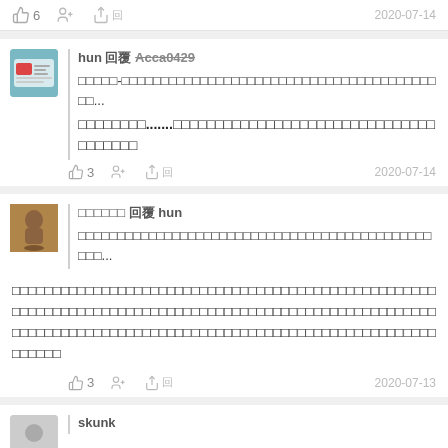👍 6  [share icon] [reply icon] 回  2020-07-14
hun 回覆 Acca0429
□□□□□-□□□□□□□□□□□□□□□□□□□□□□□□□□□□□□□□□□□□□□□□□□...
□□□□□□□□.......□□□□□□□□□□□□□□□□□□□□□□□□□□□□□□□□□□□□□□
👍 3  [reply]  2020-07-14
□□□□□□ 回覆 hun
□□□□□□□□□□□□□□□□□□□□□□□□□□□□□□□□□□□□□□□□□□□□□□□□...
□□□□□□□□□□□□□□□□□□□□□□□□□□□□□□□□□□□□□□□□□□□□□□□□□□□□□□□□□□□□□□□□□□□□□□□□□□□□□□□□□□□□□□□□□□□□□□□□□□□□□□□□□□□□□□□□□□□□□□□□□□□□□□□□□□□□□□□□□□□□□□□□□□□□□□□□□□□□□□□□□□
👍 3  [reply]  2020-07-13
skunk